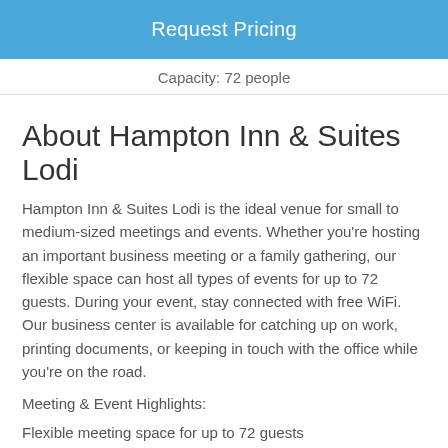Request Pricing
Capacity: 72 people
About Hampton Inn & Suites Lodi
Hampton Inn & Suites Lodi is the ideal venue for small to medium-sized meetings and events. Whether you're hosting an important business meeting or a family gathering, our flexible space can host all types of events for up to 72 guests. During your event, stay connected with free WiFi. Our business center is available for catching up on work, printing documents, or keeping in touch with the office while you're on the road.
Meeting & Event Highlights:
Flexible meeting space for up to 72 guests
Free high speed WiFi throughout the hotel
Business center
Fitness center